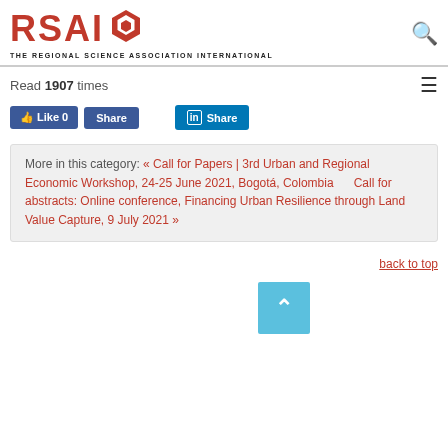[Figure (logo): RSAI logo with hexagon graphic and subtitle THE REGIONAL SCIENCE ASSOCIATION INTERNATIONAL]
Read 1907 times
[Figure (infographic): Social sharing buttons: Facebook Like 0, Facebook Share, LinkedIn Share]
More in this category: « Call for Papers | 3rd Urban and Regional Economic Workshop, 24-25 June 2021, Bogotá, Colombia       Call for abstracts: Online conference, Financing Urban Resilience through Land Value Capture, 9 July 2021 »
back to top
[Figure (infographic): Back to top scroll button (cyan/teal square with upward arrow)]